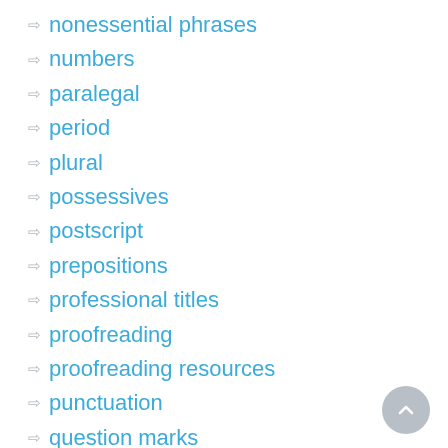nonessential phrases
numbers
paralegal
period
plural
possessives
postscript
prepositions
professional titles
proofreading
proofreading resources
punctuation
question marks